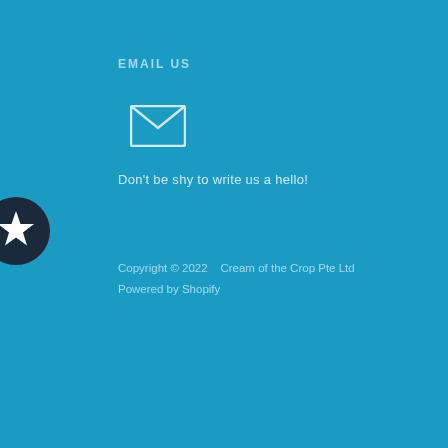EMAIL US
[Figure (illustration): White envelope/mail icon on blue background]
Don't be shy to write us a hello!
[Figure (illustration): Dark navy circle badge with white star icon]
Copyright © 2022    Cream of the Crop Pte Ltd
Powered by Shopify